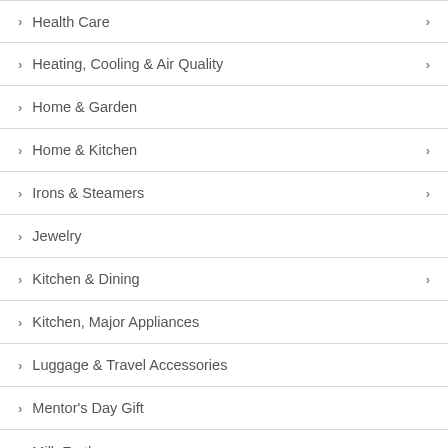Health Care
Heating, Cooling & Air Quality
Home & Garden
Home & Kitchen
Irons & Steamers
Jewelry
Kitchen & Dining
Kitchen, Major Appliances
Luggage & Travel Accessories
Mentor's Day Gift
Milk Frother...